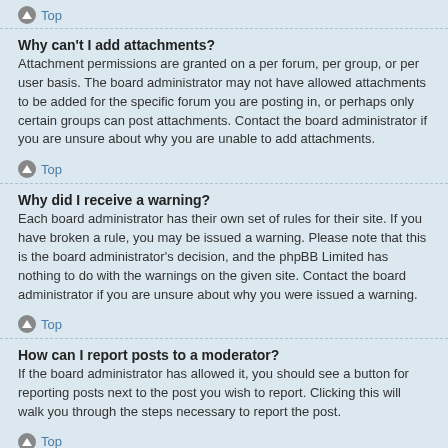Top
Why can't I add attachments?
Attachment permissions are granted on a per forum, per group, or per user basis. The board administrator may not have allowed attachments to be added for the specific forum you are posting in, or perhaps only certain groups can post attachments. Contact the board administrator if you are unsure about why you are unable to add attachments.
Top
Why did I receive a warning?
Each board administrator has their own set of rules for their site. If you have broken a rule, you may be issued a warning. Please note that this is the board administrator's decision, and the phpBB Limited has nothing to do with the warnings on the given site. Contact the board administrator if you are unsure about why you were issued a warning.
Top
How can I report posts to a moderator?
If the board administrator has allowed it, you should see a button for reporting posts next to the post you wish to report. Clicking this will walk you through the steps necessary to report the post.
Top